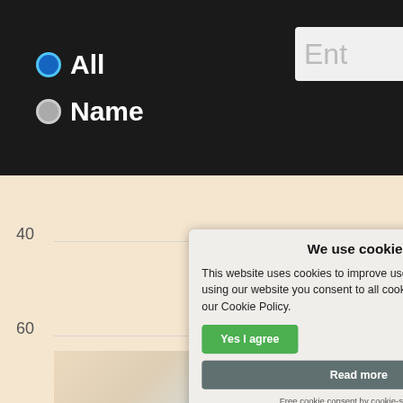[Figure (screenshot): Website navigation bar with dark background showing radio buttons for 'All' (selected, blue) and 'Name' (unselected), with a search input box partially visible on the right showing 'Ent']
[Figure (screenshot): Website content area with cream/peach background showing axis labels 40, 60, 80, 100 and a baby photo in the background]
We use cookies
This website uses cookies to improve user experience. By using our website you consent to all cookies in accordance with our Cookie Policy.
Yes I agree
I disagree
Read more
Free cookie consent by cookie-script.com